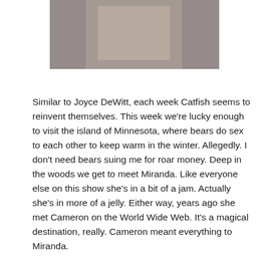[Figure (photo): Partial photo of a person wearing a white t-shirt, cropped at the top of the page]
Similar to Joyce DeWitt, each week Catfish seems to reinvent themselves.  This week we're lucky enough to visit the island of Minnesota, where bears do sex to each other to keep warm in the winter.  Allegedly.  I don't need bears suing me for roar money.  Deep in the woods we get to meet Miranda.  Like everyone else on this show she's in a bit of a jam.  Actually she's in more of a jelly.  Either way, years ago she met Cameron on the World Wide Web.  It's a magical destination, really.  Cameron meant everything to Miranda.